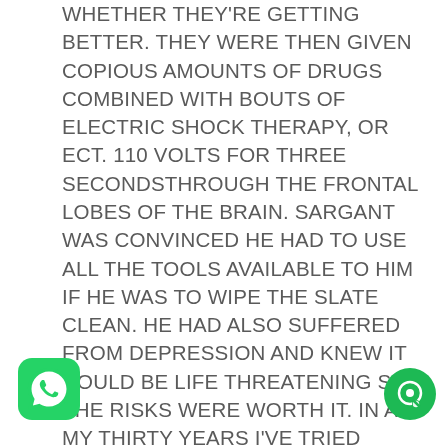WHETHER THEY'RE GETTING BETTER. THEY WERE THEN GIVEN COPIOUS AMOUNTS OF DRUGS COMBINED WITH BOUTS OF ELECTRIC SHOCK THERAPY, OR ECT. 110 VOLTS FOR THREE SECONDSTHROUGH THE FRONTAL LOBES OF THE BRAIN. SARGANT WAS CONVINCED HE HAD TO USE ALL THE TOOLS AVAILABLE TO HIM IF HE WAS TO WIPE THE SLATE CLEAN. HE HAD ALSO SUFFERED FROM DEPRESSION AND KNEW IT COULD BE LIFE THREATENING SO THE RISKS WERE WORTH IT. IN ALL MY THIRTY YEARS I'VE TRIED NEVER TO USEANY METHOD THAT I WOULDN'T USE ON MYSELF. ALL THAT MATTERS IS DON'T DO UNTO OTHERS WHAT YOU WOULDN'T HAVE DONE TO YOURSELF. FOR MANY PATIENTS LIKE RY THIS BARRAGE OF TREATMENTSHAD A DRAMATIC EFFECT ON THEIR MINDS. I ONLY
[Figure (logo): WhatsApp logo button (green rounded square with white phone handset icon)]
[Figure (logo): Green circular chat/message button with white chat icon]